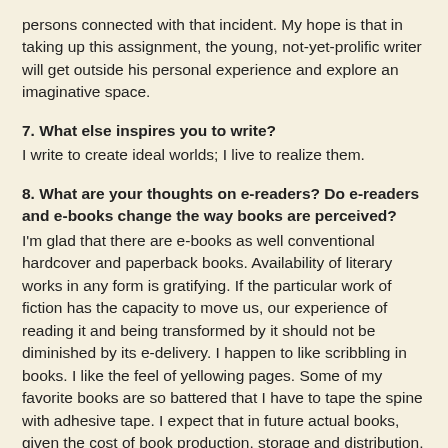persons connected with that incident.  My hope is that in taking up this assignment, the young, not-yet-prolific writer will get outside his personal experience and explore an imaginative space.
7. What else inspires you to write?
I write to create ideal worlds; I live to realize them.
8. What are your thoughts on e-readers?  Do e-readers and e-books change the way books are perceived?
I'm glad that there are e-books as well conventional hardcover and paperback books.  Availability of literary works in any form is gratifying.  If the particular work of fiction has the capacity to move us, our experience of reading it and being transformed by it should not be diminished by its e-delivery.  I happen to like scribbling in books.  I like the feel of yellowing pages.  Some of my favorite books are so battered that I have to tape the spine with adhesive tape.  I expect that in future actual books, given the cost of book production, storage and distribution, will become prized artifacts.